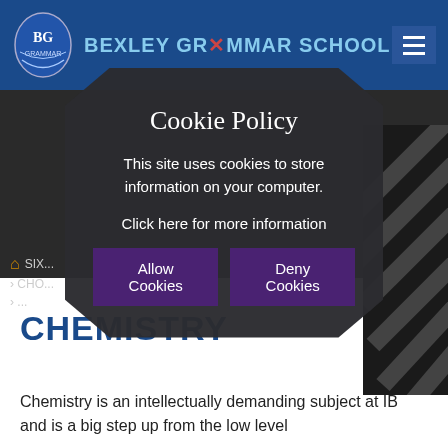[Figure (screenshot): Bexley Grammar School navigation bar with school crest logo and school name in blue header]
[Figure (infographic): Cookie Policy modal overlay with dark hexagonal background shape containing title 'Cookie Policy', description text, link text and two buttons: Allow Cookies and Deny Cookies]
Cookie Policy
This site uses cookies to store information on your computer.
Click here for more information
CHEMISTRY
Chemistry is an intellectually demanding subject at IB and is a big step up from the low level